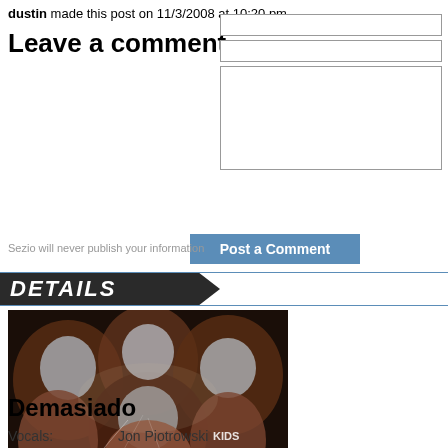dustin made this post on 11/3/2008 at 10:20 pm
Leave a comment
[Figure (screenshot): Comment form with two text input fields and a large textarea]
Post a Comment
Sezio will never publish your information
DETAILS
[Figure (photo): Black and white photo of a band with members having foil or tape on their faces]
Demasiado
Vocals:    Jon Piotrowski